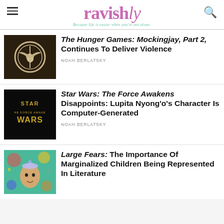ravishly — Because life is easier when you're not alone.
[Figure (photo): Mockingjay pin from The Hunger Games on dark background]
The Hunger Games: Mockingjay, Part 2, Continues To Deliver Violence
NOAH BERLATSKY
[Figure (photo): Star Wars: The Force Awakens movie logo on black background]
Star Wars: The Force Awakens Disappoints: Lupita Nyong'o's Character Is Computer-Generated
NOAH BERLATSKY
[Figure (illustration): Illustrated child with colorful background for Large Fears book]
Large Fears: The Importance Of Marginalized Children Being Represented In Literature